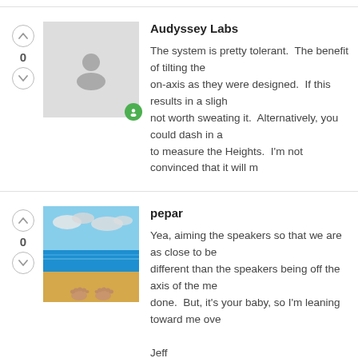Audyssey Labs
The system is pretty tolerant.  The benefit of tilting the on-axis as they were designed.  If this results in a slight not worth sweating it.  Alternatively, you could dash in a to measure the Heights.  I'm not convinced that it will m
pepar
Yea, aiming the speakers so that we are as close to be different than the speakers being off the axis of the me done.  But, it's your baby, so I'm leaning toward me ove

Jeff